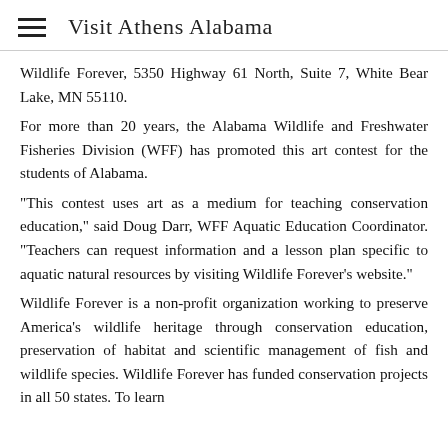Visit Athens Alabama
Wildlife Forever, 5350 Highway 61 North, Suite 7, White Bear Lake, MN 55110.
For more than 20 years, the Alabama Wildlife and Freshwater Fisheries Division (WFF) has promoted this art contest for the students of Alabama.
“This contest uses art as a medium for teaching conservation education,” said Doug Darr, WFF Aquatic Education Coordinator. “Teachers can request information and a lesson plan specific to aquatic natural resources by visiting Wildlife Forever’s website.”
Wildlife Forever is a non-profit organization working to preserve America’s wildlife heritage through conservation education, preservation of habitat and scientific management of fish and wildlife species. Wildlife Forever has funded conservation projects in all 50 states. To learn